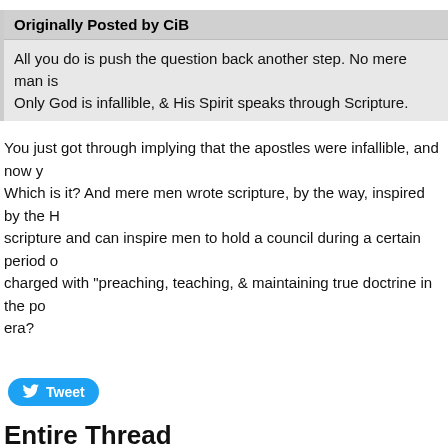Originally Posted by CiB
All you do is push the question back another step. No mere man is infallible. Only God is infallible, & His Spirit speaks through Scripture.
You just got through implying that the apostles were infallible, and now you say no mere man is. Which is it? And mere men wrote scripture, by the way, inspired by the Holy Spirit. That Spirit can inspire scripture and can inspire men to hold a council during a certain period of the church's history, charged with "preaching, teaching, & maintaining true doctrine in the post-apostolic era?
[Figure (other): Twitter Tweet button with bird icon]
Entire Thread
Subject
The Suicide of a Denomination
Re: The Suicide of a Denomination